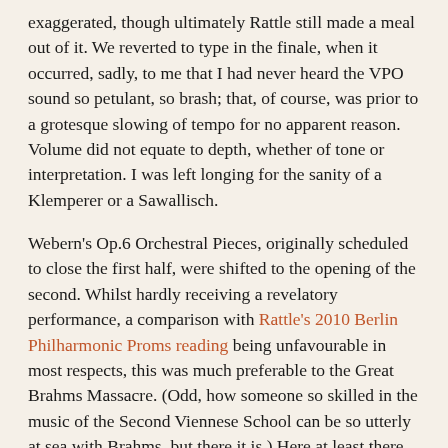exaggerated, though ultimately Rattle still made a meal out of it. We reverted to type in the finale, when it occurred, sadly, to me that I had never heard the VPO sound so petulant, so brash; that, of course, was prior to a grotesque slowing of tempo for no apparent reason. Volume did not equate to depth, whether of tone or interpretation. I was left longing for the sanity of a Klemperer or a Sawallisch.
Webern's Op.6 Orchestral Pieces, originally scheduled to close the first half, were shifted to the opening of the second. Whilst hardly receiving a revelatory performance, a comparison with Rattle's 2010 Berlin Philharmonic Proms reading being unfavourable in most respects, this was much preferable to the Great Brahms Massacre. (Odd, how someone so skilled in the music of the Second Viennese School can be so utterly at sea with Brahms, but there it is.) Here at least there was a sense of life, and also of pulse. Perhaps the first piece was too swift for 'Langsam,' but it was a relief nevertheless. The translucence of the second and third pieces contrasted strongly with the sludge of Brahms, even though the Viennese players sounded as though they might have tried a little harder. At least the Funeral March was possessed of a proper sense of purpose, on the swift side again, but not inappropriately so.